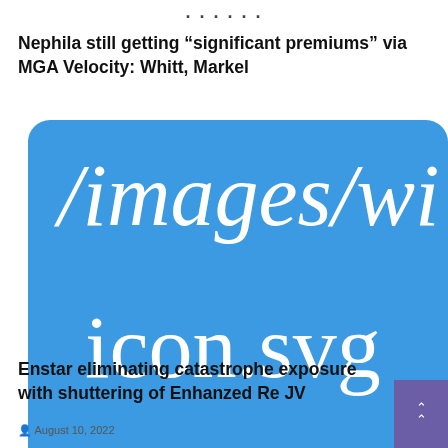Nephila still getting “significant premiums” via MGA Velocity: Whitt, Markel
[Figure (other): Broken image placeholder showing the path '/images/wi… icon.svg' rendered in large white serif italic text on a bright blue rounded rectangle background]
Enstar eliminating catastrophe exposure with shuttering of Enhanzed Re JV
August 10, 2022